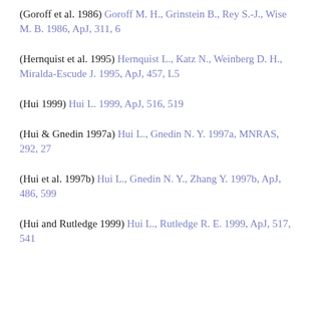(Goroff et al. 1986) Goroff M. H., Grinstein B., Rey S.-J., Wise M. B. 1986, ApJ, 311, 6
(Hernquist et al. 1995) Hernquist L., Katz N., Weinberg D. H., Miralda-Escude J. 1995, ApJ, 457, L5
(Hui 1999) Hui L. 1999, ApJ, 516, 519
(Hui & Gnedin 1997a) Hui L., Gnedin N. Y. 1997a, MNRAS, 292, 27
(Hui et al. 1997b) Hui L., Gnedin N. Y., Zhang Y. 1997b, ApJ, 486, 599
(Hui and Rutledge 1999) Hui L., Rutledge R. E. 1999, ApJ, 517, 541